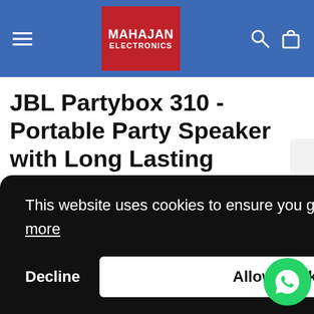MAHAJAN ELECTRONICS
JBL Partybox 310 - Portable Party Speaker with Long Lasting Battery, Powerful JBL Sound and Exciting Light Show
This website uses cookies to ensure you get the best experience on our website. Learn more
Decline  Allow Cookies